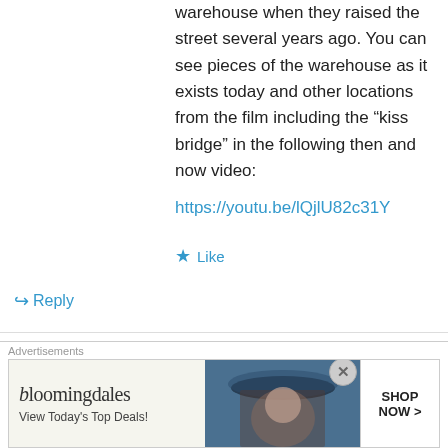is an additional front that was built into the warehouse when they raised the street several years ago. You can see pieces of the warehouse as it exists today and other locations from the film including the “kiss bridge” in the following then and now video:
https://youtu.be/lQjlU82c31Y
Like
Reply
Brian Baker on June 18, 2017 at 6:46 pm
And this video shows several locations from
Advertisements
[Figure (other): Bloomingdale's advertisement banner with logo, 'View Today's Top Deals!' text, a woman with a wide-brim hat, and a 'SHOP NOW >' button]